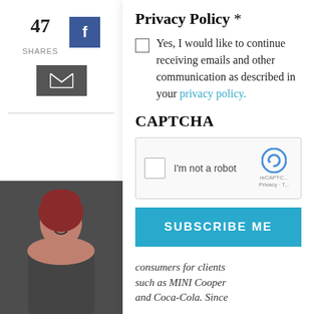47 SHARES
Privacy Policy *
Yes, I would like to continue receiving emails and other communication as described in your privacy policy.
CAPTCHA
[Figure (screenshot): reCAPTCHA widget with checkbox and 'I'm not a robot' text]
SUBSCRIBE ME
consumers for clients such as MINI Cooper and Coca-Cola. Since